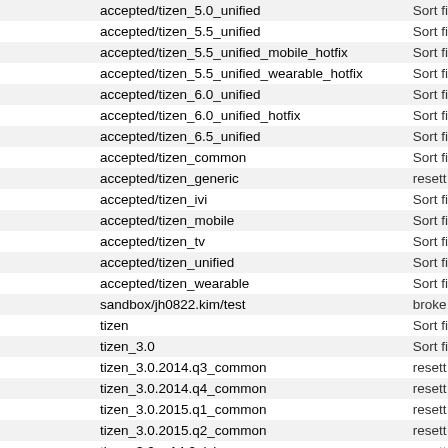| Branch | Status |
| --- | --- |
| accepted/tizen_5.0_unified | Sort fi |
| accepted/tizen_5.5_unified | Sort fi |
| accepted/tizen_5.5_unified_mobile_hotfix | Sort fi |
| accepted/tizen_5.5_unified_wearable_hotfix | Sort fi |
| accepted/tizen_6.0_unified | Sort fi |
| accepted/tizen_6.0_unified_hotfix | Sort fi |
| accepted/tizen_6.5_unified | Sort fi |
| accepted/tizen_common | Sort fi |
| accepted/tizen_generic | resett |
| accepted/tizen_ivi | Sort fi |
| accepted/tizen_mobile | Sort fi |
| accepted/tizen_tv | Sort fi |
| accepted/tizen_unified | Sort fi |
| accepted/tizen_wearable | Sort fi |
| sandbox/jh0822.kim/test | broke |
| tizen | Sort fi |
| tizen_3.0 | Sort fi |
| tizen_3.0.2014.q3_common | resett |
| tizen_3.0.2014.q4_common | resett |
| tizen_3.0.2015.q1_common | resett |
| tizen_3.0.2015.q2_common | resett |
| tizen_3.0.m14.2_ivi | resett |
| tizen_3.0.m14.3_ivi | resett |
| tizen_3.0.m1_mobile | resett |
| tizen_3.0.m1_tv | resett |
| tizen_3.0.m2 | Sort fi |